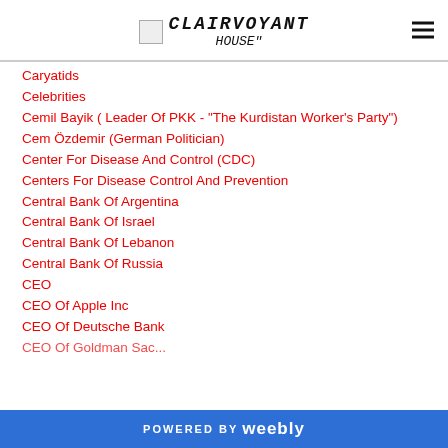CLAIRVOYANT
Caryatids
Celebrities
Cemil Bayik ( Leader Of PKK - "The Kurdistan Worker's Party")
Cem Özdemir (German Politician)
Center For Disease And Control (CDC)
Centers For Disease Control And Prevention
Central Bank Of Argentina
Central Bank Of Israel
Central Bank Of Lebanon
Central Bank Of Russia
CEO
CEO Of Apple Inc
CEO Of Deutsche Bank
POWERED BY weebly